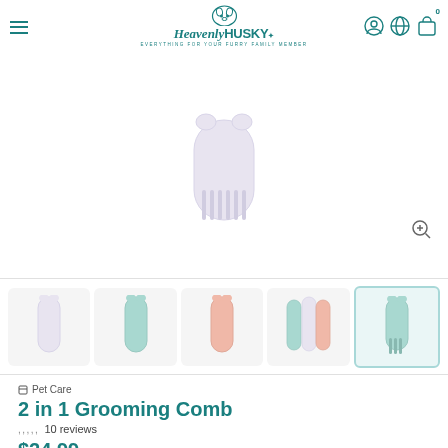Heavenly HUSKY — EVERYTHING FOR YOUR FURRY FAMILY MEMBER
[Figure (photo): Product image showing a white/light grooming comb from above — circular top visible]
[Figure (photo): Thumbnail strip showing 5 product color variants of the 2 in 1 Grooming Comb: white/lavender, mint green, pink/salmon, multi-color set, and mint green (selected/highlighted)]
Pet Care
2 in 1 Grooming Comb
10 reviews
$24.99